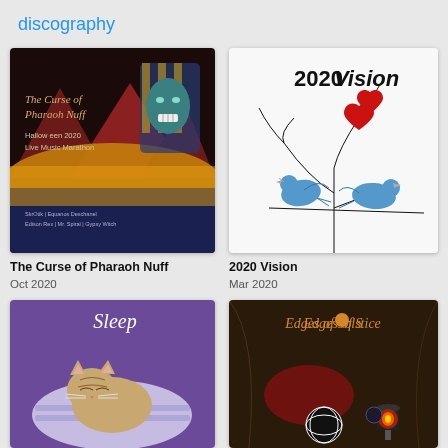discography
[Figure (illustration): Album cover for 'The Curse of Pharaoh Nuff' - dark Egyptian themed artwork with a pharaoh mask, pyramid shapes in dark red, a golden/yellow horizon glow, and text listing artist names including SkrOtik, Equanos Deschanel, Edison Rex, Mr. Spiral, Gypsy Witch. Text reads: 'The Curse of Pharaoh Nuff / Halloween 2020 / Live Music Marathon']
The Curse of Pharaoh Nuff
Oct 2020
[Figure (illustration): Album cover for '2020 Vision' - white background with a bare black tree branch, two blue doves/lovebirds sitting on a branch, two red hearts above them, text '2020 Vision' in large black lettering at top]
2020 Vision
Mar 2020
[Figure (illustration): Album cover for 'Sleep' - purple background with a tabby kitten sleeping/resting under a blanket or pillow, text 'Sleep' in white cursive at top]
[Figure (illustration): Album cover for 'Edges of Solstice' - dark brown/golden moody background with draped fabric, decorative orbs/spheres, a small glowing red candle/lantern, text 'Edges of Solstice' in golden/orange font at top]